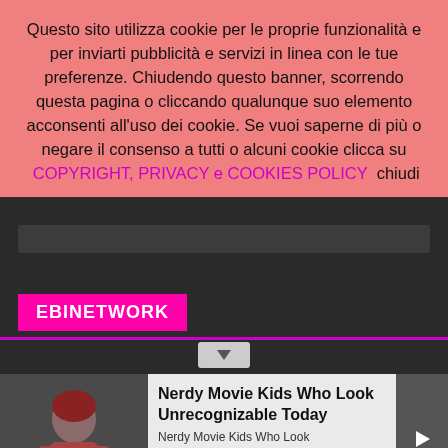Questo sito utilizza cookie per le proprie funzionalità e per inviarti pubblicità e servizi in linea con le tue preferenze. Chiudendo questo banner, scorrendo questa pagina o cliccando qualunque suo elemento acconsenti all'uso dei cookie. Se vuoi saperne di più o negare il consenso a tutti o alcuni cookie clicca su COPYRIGHT, PRIVACY e COOKIES POLICY  chiudi
[Figure (screenshot): Dark website interface area with a search/input bar]
EBINETWORK
[Figure (screenshot): Advertisement card: Nerdy Movie Kids Who Look Unrecognizable Today, with image of young girl and play button]